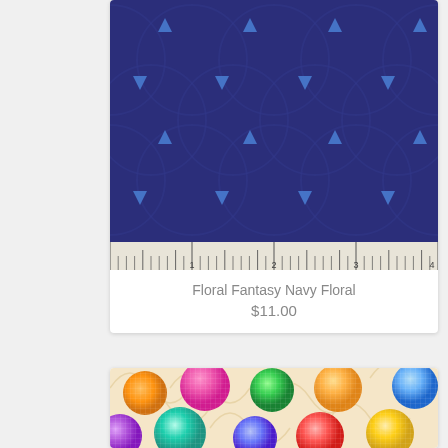[Figure (photo): Floral Fantasy Navy Floral fabric swatch showing green and teal daisy-like flowers with yellow centers on a dark navy blue background with blue triangles, with a ruler scale at the bottom showing measurements 1 through 4]
Floral Fantasy Navy Floral
$11.00
[Figure (photo): Fabric swatch showing colorful holographic or iridescent circles/dots (orange, pink, green, blue, purple, teal) on a cream/beige background with swirling floral patterns]